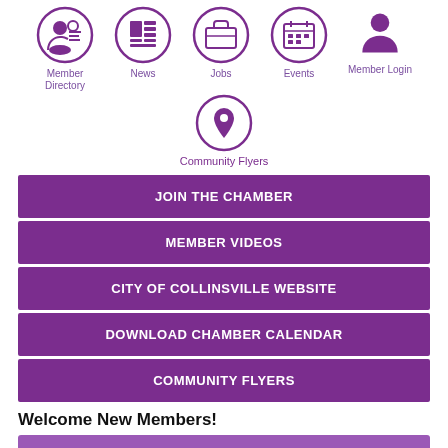[Figure (infographic): Navigation icons row 1: Member Directory, News, Jobs, Events, Member Login - purple circle icons with labels]
[Figure (infographic): Navigation icon row 2: Community Flyers - purple circle icon with map pin label]
JOIN THE CHAMBER
MEMBER VIDEOS
CITY OF COLLINSVILLE WEBSITE
DOWNLOAD CHAMBER CALENDAR
COMMUNITY FLYERS
Welcome New Members!
Metroeast Equipment